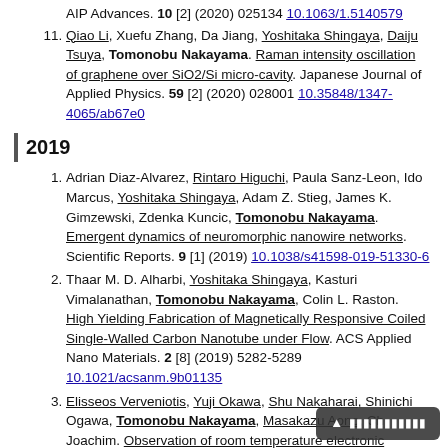AIP Advances. 10 [2] (2020) 025134 10.1063/1.5140579
11. Qiao Li, Xuefu Zhang, Da Jiang, Yoshitaka Shingaya, Daiju Tsuya, Tomonobu Nakayama. Raman intensity oscillation of graphene over SiO2/Si micro-cavity. Japanese Journal of Applied Physics. 59 [2] (2020) 028001 10.35848/1347-4065/ab67e0
2019
1. Adrian Diaz-Alvarez, Rintaro Higuchi, Paula Sanz-Leon, Ido Marcus, Yoshitaka Shingaya, Adam Z. Stieg, James K. Gimzewski, Zdenka Kuncic, Tomonobu Nakayama. Emergent dynamics of neuromorphic nanowire networks. Scientific Reports. 9 [1] (2019) 10.1038/s41598-019-51330-6
2. Thaar M. D. Alharbi, Yoshitaka Shingaya, Kasturi Vimalanathan, Tomonobu Nakayama, Colin L. Raston. High Yielding Fabrication of Magnetically Responsive Coiled Single-Walled Carbon Nanotube under Flow. ACS Applied Nano Materials. 2 [8] (2019) 5282-5289 10.1021/acsanm.9b01135
3. Elisseos Verveniotis, Yuji Okawa, Shu Nakaharai, Shinichi Ogawa, Tomonobu Nakayama, Masakazu Aono, Christian Joachim. Observation of room temperature electronic